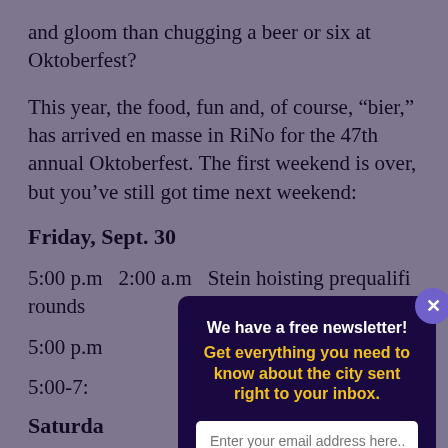and gloom than chugging a beer or six at Oktoberfest?
This year, the food, fun and, of course, “bier,” has arrived en masse in RiNo for the 47th annual Oktoberfest. The first weekend is over, but you’ve still got time next weekend:
Friday, Sept. 30
5:00 p.m – 2:00 a.m. – Stein hoisting prequalifying rounds
5:00 p.m
5:00-7:
Saturda
[Figure (screenshot): Newsletter signup modal overlay with dark purple background. Title: 'We have a free newsletter!' in white bold text. Subtitle: 'Get everything you need to know about the city sent right to your inbox.' in yellow bold text. Email input field with placeholder 'Enter your email address here...' and a yellow 'Sign me up!' button. Close button (X) in top-right corner on a purple circle.]